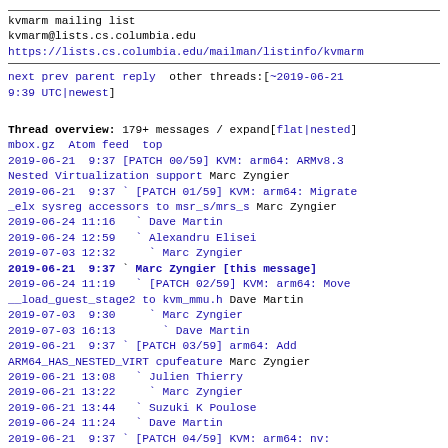kvmarm mailing list
kvmarm@lists.cs.columbia.edu
https://lists.cs.columbia.edu/mailman/listinfo/kvmarm
next prev parent reply  other threads:[~2019-06-21 9:39 UTC|newest]
Thread overview: 179+ messages / expand[flat|nested]
mbox.gz  Atom feed  top
2019-06-21  9:37 [PATCH 00/59] KVM: arm64: ARMv8.3 Nested Virtualization support Marc Zyngier
2019-06-21  9:37 ` [PATCH 01/59] KVM: arm64: Migrate _elx sysreg accessors to msr_s/mrs_s Marc Zyngier
2019-06-24 11:16   ` Dave Martin
2019-06-24 12:59   ` Alexandru Elisei
2019-07-03 12:32     ` Marc Zyngier
2019-06-21  9:37 ` Marc Zyngier [this message]
2019-06-24 11:19   ` [PATCH 02/59] KVM: arm64: Move __load_guest_stage2 to kvm_mmu.h Dave Martin
2019-07-03  9:30     ` Marc Zyngier
2019-07-03 16:13       ` Dave Martin
2019-06-21  9:37 ` [PATCH 03/59] arm64: Add ARM64_HAS_NESTED_VIRT cpufeature Marc Zyngier
2019-06-21 13:08   ` Julien Thierry
2019-06-21 13:22     ` Marc Zyngier
2019-06-21 13:44   ` Suzuki K Poulose
2019-06-24 11:24   ` Dave Martin
2019-06-21  9:37 ` [PATCH 04/59] KVM: arm64: nv: Introduce nested virtualization VCPU feature Marc